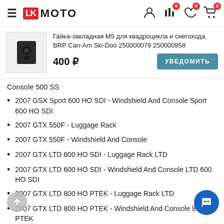LK MOTO
[Figure (photo): Product photo of a black M5 insert nut for BRP Can-Am Ski-Doo quad and snowmobile]
Гайка-закладная М5 для квадроцикла и снегохода BRP Can-Am Ski-Doo 250000079 250000958
400 ₽
УВЕДОМИТЬ
Console 500 SS
2007 GSX Sport 600 HO SDI - Windshield And Console Sport 600 HO SDI
2007 GTX 550F - Luggage Rack
2007 GTX 550F - Windshield And Console
2007 GTX LTD 600 HO SDI - Luggage Rack LTD
2007 GTX LTD 600 HO SDI - Windshield And Console LTD 600 HO SDI
2007 GTX LTD 800 HO PTEK - Luggage Rack LTD
2007 GTX LTD 800 HO PTEK - Windshield And Console 800 HO PTEK
2007 GTX Sport 500 SS - Luggage Rack S...